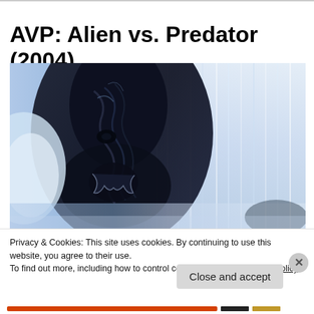AVP: Alien vs. Predator (2004)
[Figure (photo): Close-up promotional image from AVP: Alien vs. Predator (2004) showing a dark alien creature face in blue-tinted tones on the left, with lighter streaked background on the right]
Privacy & Cookies: This site uses cookies. By continuing to use this website, you agree to their use.
To find out more, including how to control cookies, see here: Cookie Policy
Close and accept